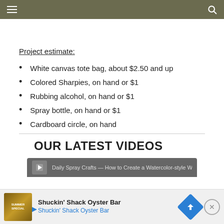Navigation bar with menu and search icons
Project estimate:
White canvas tote bag, about $2.50 and up
Colored Sharpies, on hand or $1
Rubbing alcohol, on hand or $1
Spray bottle, on hand or $1
Cardboard circle, on hand
OUR LATEST VIDEOS
[Figure (screenshot): Video player bar showing a video title partially visible, dark grey background]
[Figure (screenshot): Advertisement overlay for Shuckin' Shack Oyster Bar with logo, text, and close button]